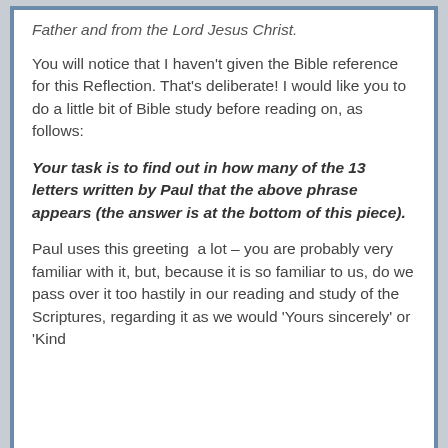Father and from the Lord Jesus Christ.
You will notice that I haven't given the Bible reference for this Reflection. That's deliberate! I would like you to do a little bit of Bible study before reading on, as follows:
Your task is to find out in how many of the 13 letters written by Paul that the above phrase appears (the answer is at the bottom of this piece).
Paul uses this greeting  a lot – you are probably very familiar with it, but, because it is so familiar to us, do we pass over it too hastily in our reading and study of the Scriptures, regarding it as we would 'Yours sincerely' or 'Kind